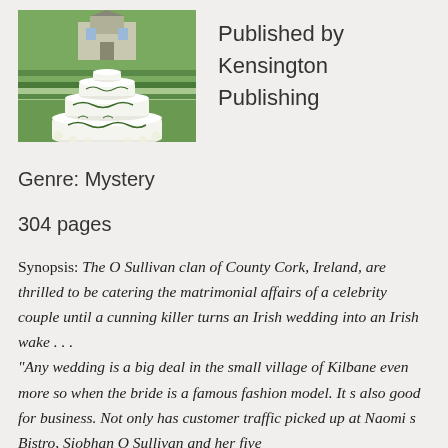[Figure (illustration): Book cover illustration showing a white tiered wedding cake decorated with green ivy leaves, with a green countryside/estate background.]
Published by Kensington Publishing
Genre: Mystery
304 pages
Synopsis: The O Sullivan clan of County Cork, Ireland, are thrilled to be catering the matrimonial affairs of a celebrity couple until a cunning killer turns an Irish wedding into an Irish wake . . . "Any wedding is a big deal in the small village of Kilbane even more so when the bride is a famous fashion model. It s also good for business. Not only has customer traffic picked up at Naomi s Bistro, Siobhan O Sullivan and her five